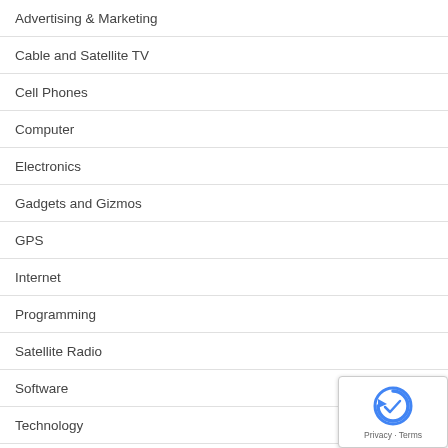Advertising & Marketing
Cable and Satellite TV
Cell Phones
Computer
Electronics
Gadgets and Gizmos
GPS
Internet
Programming
Satellite Radio
Software
Technology
Telecommunication
Uncategorized
[Figure (other): reCAPTCHA badge with Privacy and Terms links]